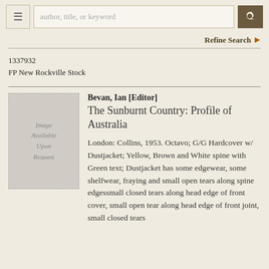author, title, or keyword [search bar]
Refine Search
1337932
FP New Rockville Stock
[Figure (illustration): Placeholder image with text 'Image Available Upon Request']
Bevan, Ian [Editor]
The Sunburnt Country: Profile of Australia
London: Collins, 1953. Octavo; G/G Hardcover w/ Dustjacket; Yellow, Brown and White spine with Green text; Dustjacket has some edgewear, some shelfwear, fraying and small open tears along spine edgessmall closed tears along head edge of front cover, small open tear along head edge of front joint, small closed tears